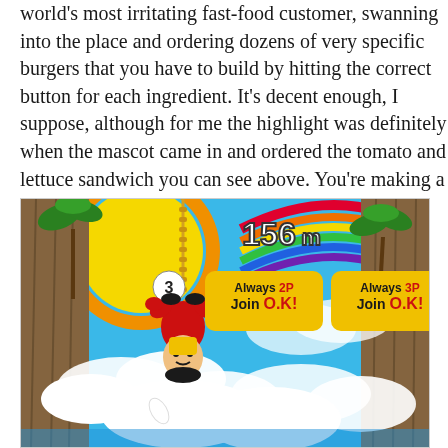world's most irritating fast-food customer, swanning into the place and ordering dozens of very specific burgers that you have to build by hitting the correct button for each ingredient. It's decent enough, I suppose, although for me the highlight was definitely when the mascot came in and ordered the tomato and lettuce sandwich you can see above. You're making a mockery of the very concept of hamburgers, you maniac!
[Figure (screenshot): A colorful retro video game screenshot showing a character hanging upside down from a rope/chain at 156m height, with a sunny sky, rainbow, clouds, and two join prompts reading 'Always 2P Join O.K!' and 'Always 3P Join O.K!' on yellow banners. Rocky cliffs with palm trees frame both sides.]